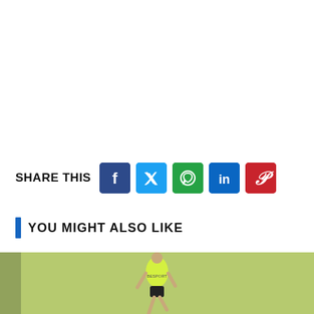SHARE THIS
[Figure (infographic): Social share buttons: Facebook, Twitter, WhatsApp, LinkedIn, Pinterest]
YOU MIGHT ALSO LIKE
[Figure (photo): A person in a yellow jersey and black shorts running on a grass field with a yellow flag in the background]